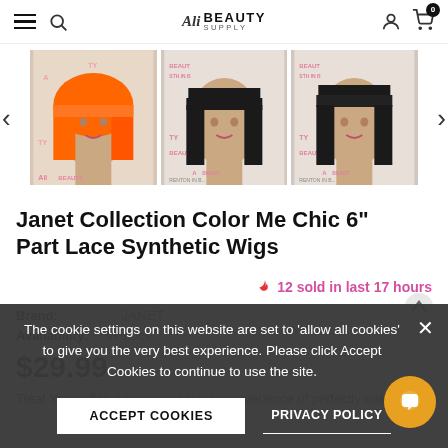Ali Beauty Supply — navigation bar with hamburger menu, search, logo, user icon, cart (0)
[Figure (photo): Carousel of three wig product photos on mannequin heads. First: orange/red wig with Ali Beauty Supply branding. Second: straight black wig. Third: straight black wig. Navigation arrows on left and right.]
Janet Collection Color Me Chic 6" Part Lace Synthetic Wigs
🔥 12 sold in last 17 hours
Brand: JANET
Availability: In stock
$29.99
Treat Yourself to a new revolutionary experience of perfectly natural
The cookie settings on this website are set to 'allow all cookies' to give you the very best experience. Please click Accept Cookies to continue to use the site.
ACCEPT COOKIES
PRIVACY POLICY